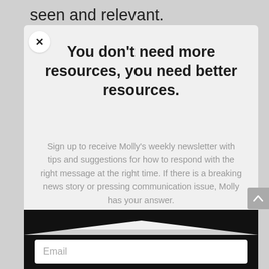seen and relevant.
You don't need more resources, you need better resources.
Sign up to receive Molly's weekly newsletter with tips and suggestions for how to respond with the right message at the right time. If there is a breaking news story or pressing communication issue, Molly has your answer.
[Figure (screenshot): Email input field with placeholder text 'Email' on a black background, part of a newsletter signup modal.]